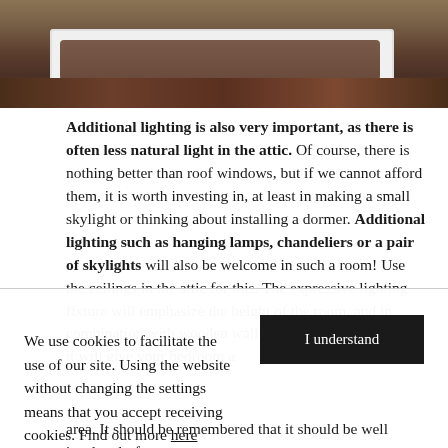[Figure (photo): Bedroom in an attic with a white bed frame, brown mattress, and dark wooden floor]
Additional lighting is also very important, as there is often less natural light in the attic. Of course, there is nothing better than roof windows, but if we cannot afford them, it is worth investing in, at least in making a small skylight or thinking about installing a dormer. Additional lighting such as hanging lamps, chandeliers or a pair of skylights will also be welcome in such a room! Use the ceilings in the attic for this. The expressive lighting fixture will emphasize the height of the room, and in combination with wooden wall panels and neutral colors, it will give your bedroom a
We use cookies to facilitate the use of our site. Using the website without changing the settings means that you accept receiving cookies. Find out more here
area. It should be remembered that it should be well insulated - from